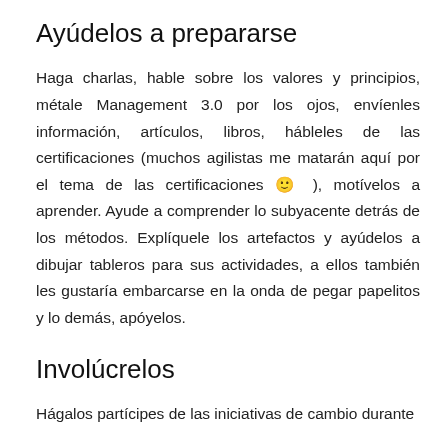Ayúdelos a prepararse
Haga charlas, hable sobre los valores y principios, métale Management 3.0 por los ojos, envíenles información, artículos, libros, hábleles de las certificaciones (muchos agilistas me matarán aquí por el tema de las certificaciones 🙂 ), motívelos a aprender. Ayude a comprender lo subyacente detrás de los métodos. Explíquele los artefactos y ayúdelos a dibujar tableros para sus actividades, a ellos también les gustaría embarcarse en la onda de pegar papelitos y lo demás, apóyelos.
Involúcrelos
Hágalos partícipes de las iniciativas de cambio durante